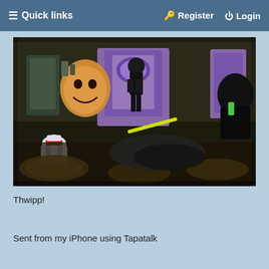≡ Quick links    🔑 Register   ⏻ Login
[Figure (photo): Photo of Star Wars action figures and collectible toys arranged on a surface with decorative circular discs/coins. Includes a small R2-D2 style droid, a large creature head, a purple throne-like structure, a dark armored figure, and other characters in a diorama scene.]
Thwipp!
Sent from my iPhone using Tapatalk